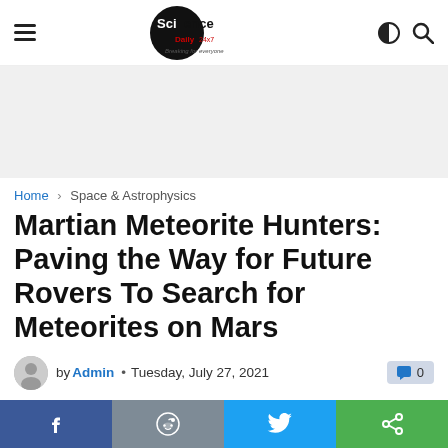ScienceDaily — hamburger menu, logo, dark mode icon, search icon
[Figure (other): Advertisement placeholder area (gray background)]
Home › Space & Astrophysics
Martian Meteorite Hunters: Paving the Way for Future Rovers To Search for Meteorites on Mars
by Admin • Tuesday, July 27, 2021
Social share bar: Facebook, Reddit, Twitter, Email/other